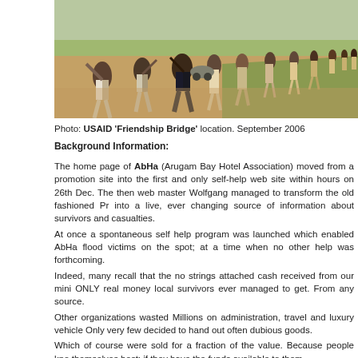[Figure (photo): A group of people running along a dirt road in a rural area, with grass and flat land visible in the background. September 2006, USAID Friendship Bridge location.]
Photo: USAID 'Friendship Bridge' location. September 2006
Background Information:
The home page of AbHa (Arugam Bay Hotel Association) moved from a promotion site into the first and only self-help web site within hours on 26th Dec. The then web master Wolfgang managed to transform the old fashioned Pr into a live, ever changing source of information about survivors and casualties. At once a spontaneous self help program was launched which enabled AbHa flood victims on the spot; at a time when no other help was forthcoming. Indeed, many recall that the no strings attached cash received from our mini ONLY real money local survivors ever managed to get. From any source. Other organizations wasted Millions on administration, travel and luxury vehicle Only very few decided to hand out often dubious goods. Which of course were sold for a fraction of the value. Because people kno themselves best; if they have the funds available to them.